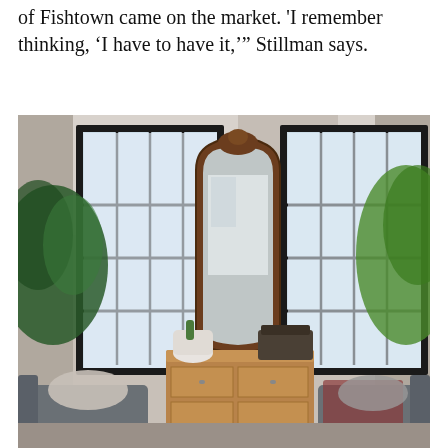of Fishtown came on the market. 'I remember thinking, ‘I have to have it,’” Stillman says.
[Figure (photo): Interior living room photo showing two large black-framed double-hung windows flanking a wooden dresser with an ornate arched mirror on top. A vintage typewriter sits on the dresser alongside potted plants and a cactus. Lush green plants are visible on both sides. Two gray upholstered chairs are partially visible in the foreground. The room has white/gray walls and a light ceiling with recessed lighting.]